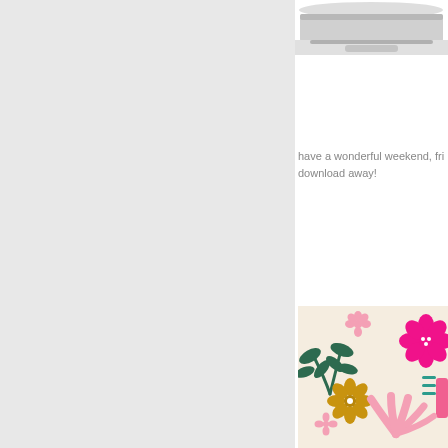[Figure (photo): Partial view of a laptop on white background, cropped at top of page]
have a wonderful weekend, fri... download away!
[Figure (illustration): Floral illustration card with cream/beige background featuring colorful flowers and leaves: pink small flower top center, large hot pink flower top right, dark green leaf cluster left, golden yellow daisy center-left, small pink flower bottom-left, pink hand-like flower bottom-right, partial teal/dark leaves bottom-right edge, plus partial teal dashes and pink rectangle on right side]